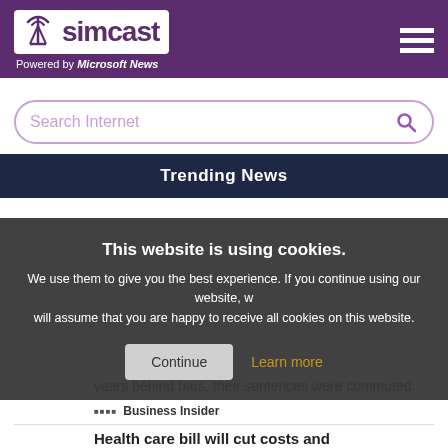simcast — Powered by Microsoft News
Search Internet
Trending News
This website is using cookies. We use them to give you the best experience. If you continue using our website, we will assume that you are happy to receive all cookies on this website.
Continue | Learn more
years behind bars, their sentences were commuted.
Business Insider
Health care bill will cut costs and